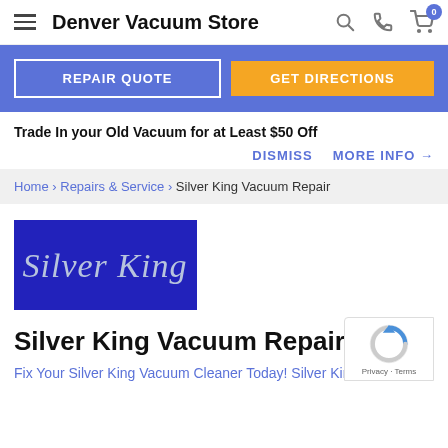Denver Vacuum Store
REPAIR QUOTE | GET DIRECTIONS
Trade In your Old Vacuum for at Least $50 Off
DISMISS   MORE INFO →
Home › Repairs & Service › Silver King Vacuum Repair
[Figure (logo): Silver King brand logo — blue rectangle with silver script text reading 'Silver King']
Silver King Vacuum Repair
Fix Your Silver King Vacuum Cleaner Today! Silver King